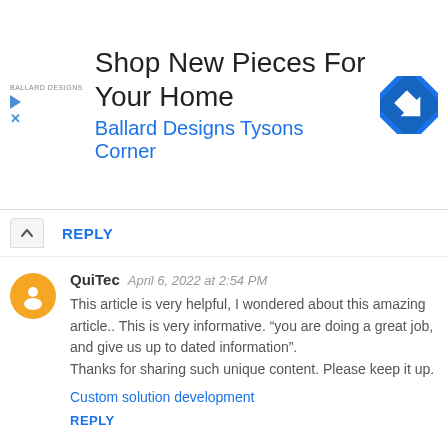[Figure (other): Advertisement banner for Ballard Designs Tysons Corner with navigation/directions icon]
REPLY
QuiTec   April 6, 2022 at 2:54 PM
This article is very helpful, I wondered about this amazing article.. This is very informative. “you are doing a great job, and give us up to dated information”.
Thanks for sharing such unique content. Please keep it up.
Custom solution development
REPLY
numberup   April 8, 2022 at 2:38 AM
Thanks for a very interesting blog. What else may I get that kind of info written in such a perfect approach about Online Marketing